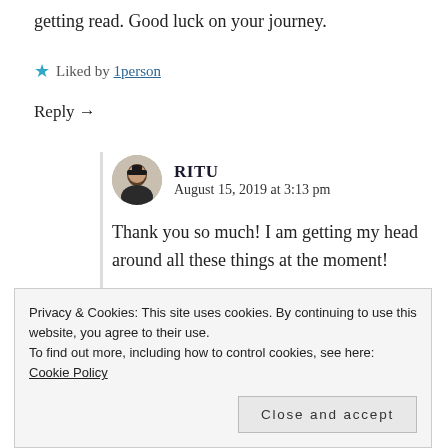getting read. Good luck on your journey.
★ Liked by 1person
Reply →
RITU
August 15, 2019 at 3:13 pm

Thank you so much! I am getting my head around all these things at the moment!
Privacy & Cookies: This site uses cookies. By continuing to use this website, you agree to their use.
To find out more, including how to control cookies, see here: Cookie Policy
Close and accept